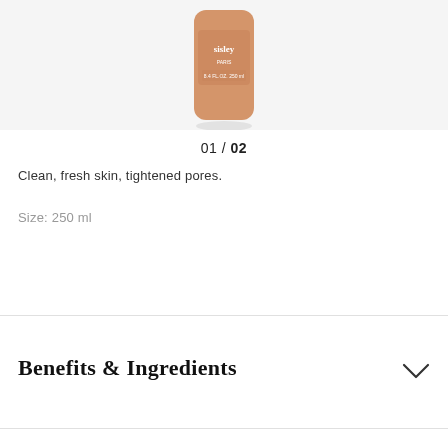[Figure (photo): Sisley Paris product bottle, orange/amber colored bottle partially visible at top of page]
01 / 02
Clean, fresh skin, tightened pores.
Size: 250 ml
Benefits & Ingredients